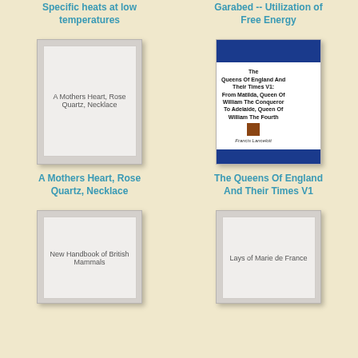Specific heats at low temperatures
Garabed -- Utilization of Free Energy
[Figure (illustration): Book cover placeholder for A Mothers Heart, Rose Quartz, Necklace]
[Figure (illustration): Book cover for The Queens Of England And Their Times V1: From Matilda, Queen Of William The Conqueror To Adelaide, Queen Of William The Fourth by Francis Lancelott]
A Mothers Heart, Rose Quartz, Necklace
The Queens Of England And Their Times V1
[Figure (illustration): Book cover placeholder for New Handbook of British Mammals]
[Figure (illustration): Book cover placeholder for Lays of Marie de France]